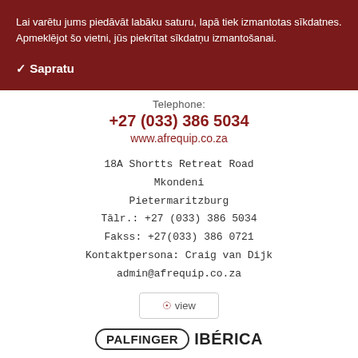Lai varētu jums piedāvāt labāku saturu, lapā tiek izmantotas sīkdatnes. Apmeklējot šo vietni, jūs piekrītat sīkdatņu izmantošanai.
✓ Sapratu
Telephone:
+27 (033) 386 5034
www.afrequip.co.za
18A Shortts Retreat Road
Mkondeni
Pietermaritzburg
Tālr.: +27 (033) 386 5034
Fakss: +27(033) 386 0721
Kontaktpersona: Craig van Dijk
admin@afrequip.co.za
⊙ view
[Figure (logo): PALFINGER IBÉRICA logo — PALFINGER in a rounded rectangle border, followed by IBÉRICA in bold text]